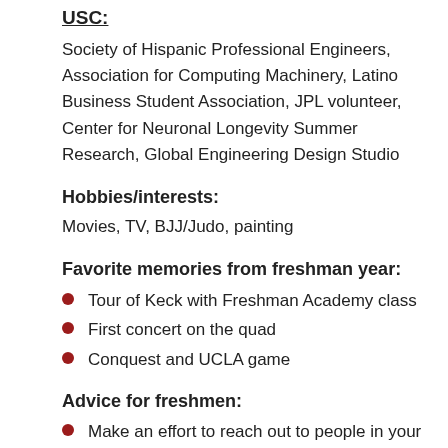USC:
Society of Hispanic Professional Engineers, Association for Computing Machinery, Latino Business Student Association, JPL volunteer, Center for Neuronal Longevity Summer Research, Global Engineering Design Studio
Hobbies/interests:
Movies, TV, BJJ/Judo, painting
Favorite memories from freshman year:
Tour of Keck with Freshman Academy class
First concert on the quad
Conquest and UCLA game
Advice for freshmen:
Make an effort to reach out to people in your classes and utilize office hours.